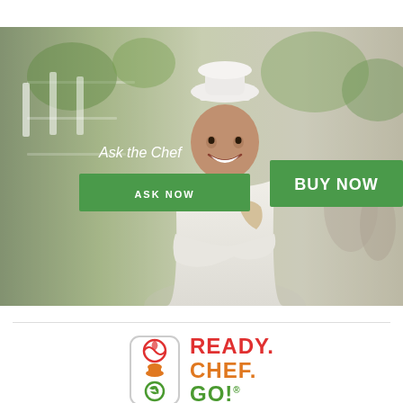[Figure (photo): A smiling female chef in white uniform and chef's hat standing with arms crossed in a restaurant setting, with 'Ask the Chef', 'ASK NOW' button, and 'BUY NOW' button overlaid on the image.]
[Figure (logo): Ready. Chef. Go! logo with three icons in a rounded rectangle box on the left and the text READY. CHEF. GO! in red, orange, and green on the right.]